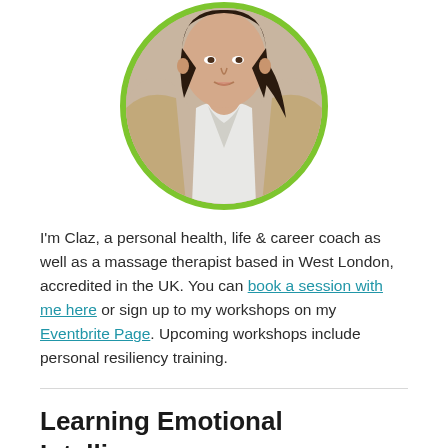[Figure (photo): Circular cropped portrait photo of Claz, a woman with dark hair wearing a white top and beige cardigan, with a green circular border.]
I'm Claz, a personal health, life & career coach as well as a massage therapist based in West London, accredited in the UK. You can book a session with me here or sign up to my workshops on my Eventbrite Page. Upcoming workshops include personal resiliency training.
Learning Emotional Intelligence